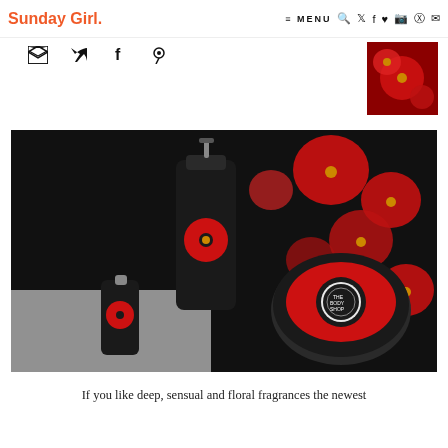Sunday Girl. | MENU
[Figure (illustration): Social share icons: envelope, Twitter bird, Facebook f, Pinterest p]
[Figure (photo): Thumbnail of red poppy flowers close-up]
[Figure (photo): The Body Shop products arranged on a black fabric with red floral print. Products include a pump bottle, a small spray bottle, and a round body butter tin, all with red poppy labels.]
If you like deep, sensual and floral fragrances the newest